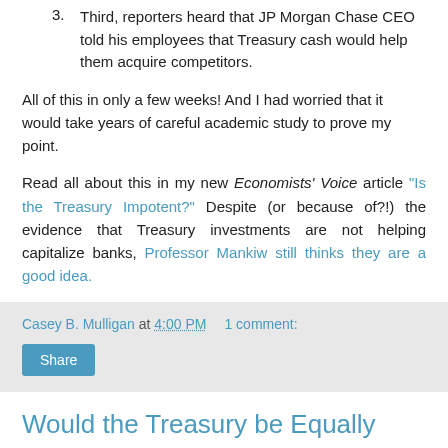3. Third, reporters heard that JP Morgan Chase CEO told his employees that Treasury cash would help them acquire competitors.
All of this in only a few weeks! And I had worried that it would take years of careful academic study to prove my point.
Read all about this in my new Economists' Voice article "Is the Treasury Impotent?" Despite (or because of?!) the evidence that Treasury investments are not helping capitalize banks, Professor Mankiw still thinks they are a good idea.
Casey B. Mulligan at 4:00 PM   1 comment:
Share
Would the Treasury be Equally